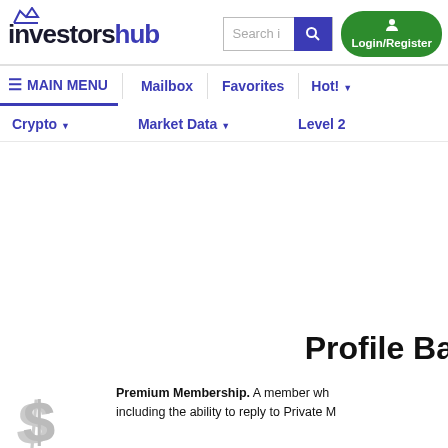investorshub
Search i | Login/Register
MAIN MENU | Mailbox | Favorites | Hot!
Crypto | Market Data | Level 2
Profile Ba
Premium Membership. A member wh including the ability to reply to Private M